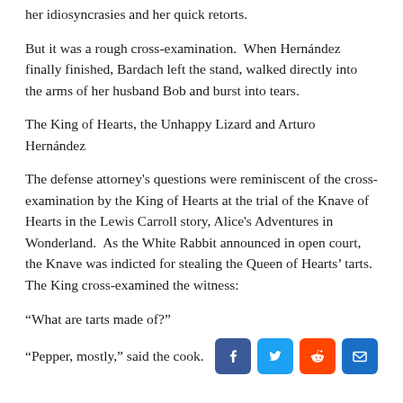her idiosyncrasies and her quick retorts.
But it was a rough cross-examination.  When Hernández finally finished, Bardach left the stand, walked directly into the arms of her husband Bob and burst into tears.
The King of Hearts, the Unhappy Lizard and Arturo Hernández
The defense attorney's questions were reminiscent of the cross-examination by the King of Hearts at the trial of the Knave of Hearts in the Lewis Carroll story, Alice's Adventures in Wonderland.  As the White Rabbit announced in open court, the Knave was indicted for stealing the Queen of Hearts' tarts.  The King cross-examined the witness:
“What are tarts made of?”
“Pepper, mostly,” said the cook.